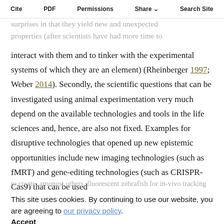Cite | PDF | Permissions | Share | Search Site
surprises in that they yield new and unexpected properties (after scientists have had more time to
interact with them and to tinker with the experimental systems of which they are an element) (Rheinberger 1997; Weber 2014). Secondly, the scientific questions that can be investigated using animal experimentation very much depend on the available technologies and tools in the life sciences and, hence, are also not fixed. Examples for disruptive technologies that opened up new epistemic opportunities include new imaging technologies (such as fMRT) and gene-editing technologies (such as CRISPR-Cas9) that can be used
to create, amongst others, fluorescent zebrafish for in-vivo tracking or mice with humanized immunological properties for biomedical research.
This site uses cookies. By continuing to use our website, you are agreeing to our privacy policy.
Accept